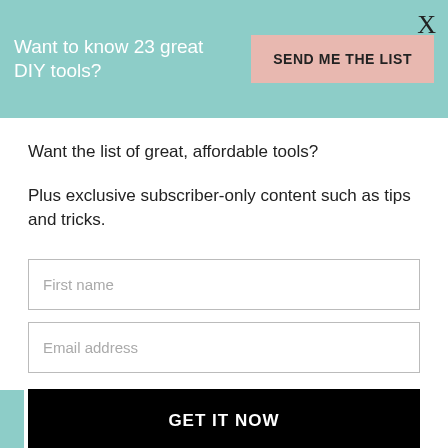Want to know 23 great DIY tools?
SEND ME THE LIST
X
Want the list of great, affordable tools?
Plus exclusive subscriber-only content such as tips and tricks.
First name
Email address
GET IT NOW